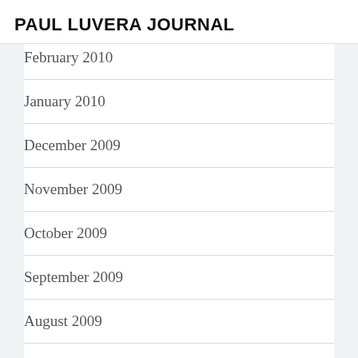PAUL LUVERA JOURNAL
February 2010
January 2010
December 2009
November 2009
October 2009
September 2009
August 2009
July 2009
June 2009
May 2009
April 2009